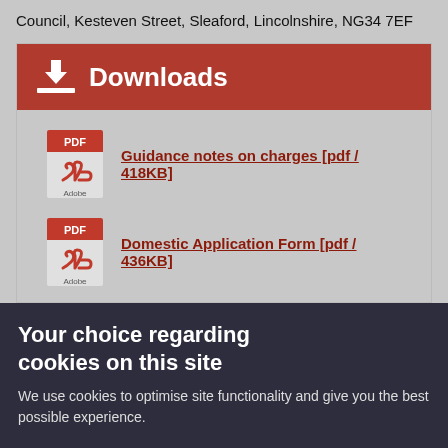Council, Kesteven Street, Sleaford, Lincolnshire, NG34 7EF
Downloads
Guidance notes on charges [pdf / 418KB]
Domestic Application Form [pdf / 436KB]
Your choice regarding cookies on this site
We use cookies to optimise site functionality and give you the best possible experience.